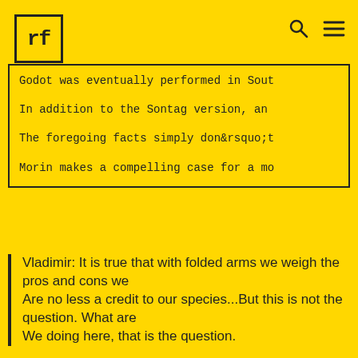rf [logo] [search icon] [menu icon]
Godot was eventually performed in Sout

In addition to the Sontag version, an

The foregoing facts simply don&rsquo;t

Morin makes a compelling case for a mo
Vladimir: It is true that with folded arms we weigh the pros and cons we
Are no less a credit to our species...But this is not the question. What are
We doing here, that is the question.